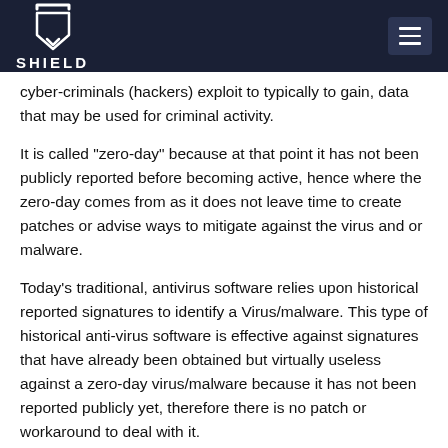SHIELD
cyber-criminals (hackers) exploit to typically to gain, data that may be used for criminal activity.
It is called “zero-day” because at that point it has not been publicly reported before becoming active, hence where the zero-day comes from as it does not leave time to create patches or advise ways to mitigate against the virus and or malware.
Today’s traditional, antivirus software relies upon historical reported signatures to identify a Virus/malware. This type of historical anti-virus software is effective against signatures that have already been obtained but virtually useless against a zero-day virus/malware because it has not been reported publicly yet, therefore there is no patch or workaround to deal with it.
Until now with the invent of Solsbit and its RVC (data